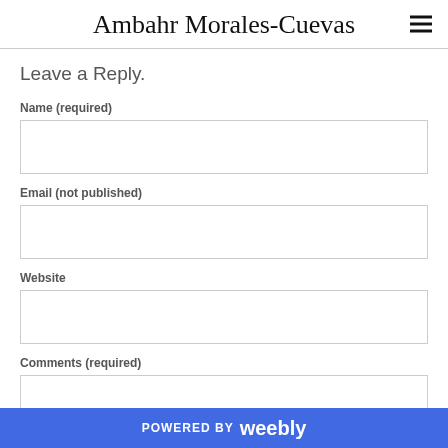Ambahr Morales-Cuevas
Leave a Reply.
Name (required)
Email (not published)
Website
Comments (required)
POWERED BY weebly